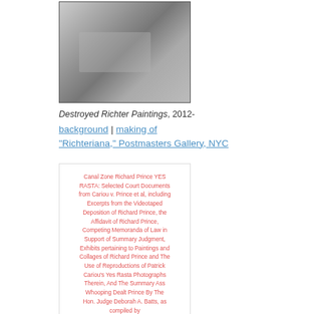[Figure (photo): Black and white photograph in a frame, showing a figure reclining with wires/cables visible]
Destroyed Richter Paintings, 2012- background | making of "Richteriana," Postmasters Gallery, NYC
[Figure (photo): Book cover: Canal Zone Richard Prince YES RASTA: Selected Court Documents from Cariou v. Prince et al, including Excerpts from the Videotaped Deposition of Richard Prince, the Affidavit of Richard Prince, Competing Memoranda of Law in Support of Summary Judgment, Exhibits pertaining to Paintings and Collages of Richard Prince and The Use of Reproductions of Patrick Cariou's Yes Rasta Photographs Therein, And The Summary Ass Whooping Dealt Prince By The Hon. Judge Deborah A. Batts, as compiled by Greg Allen for greg.org, March 2011]
Canal Zone Richard Prince YES RASTA: Selected Court Documents